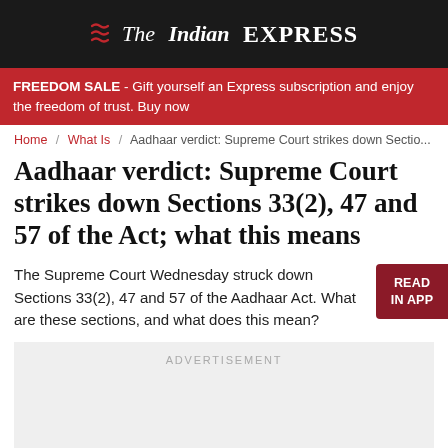The Indian EXPRESS
FREEDOM SALE - Gift yourself an Express subscription and enjoy the freedom of trust. Buy now
Home / What Is / Aadhaar verdict: Supreme Court strikes down Section...
Aadhaar verdict: Supreme Court strikes down Sections 33(2), 47 and 57 of the Act; what this means
The Supreme Court Wednesday struck down Sections 33(2), 47 and 57 of the Aadhaar Act. What are these sections, and what does this mean?
ADVERTISEMENT